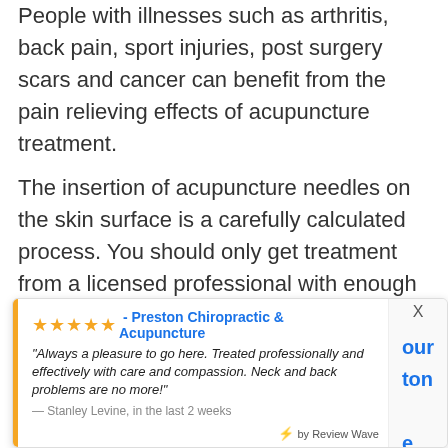People with illnesses such as arthritis, back pain, sport injuries, post surgery scars and cancer can benefit from the pain relieving effects of acupuncture treatment.
The insertion of acupuncture needles on the skin surface is a carefully calculated process. You should only get treatment from a licensed professional with enough experience in this kind of treatment for the best results.
★★★★★ - Preston Chiropractic & Acupuncture
"Always a pleasure to go here. Treated professionally and effectively with care and compassion. Neck and back problems are no more!"
— Stanley Levine, in the last 2 weeks
⚡ by Review Wave